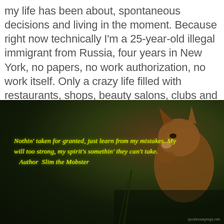my life has been about, spontaneous decisions and living in the moment. Because right now technically I'm a 25-year-old illegal immigrant from Russia, four years in New York, no papers, no work authorization, no work itself. Only a crazy life filled with restaurants, shops, beauty salons, clubs and restaurants again. How is it all possible? Very simple. I used to be a stripper. — Ellie Midwood
[Figure (photo): Dark background photo of a small fox or similar animal with yellow stylized quote text overlay: 'Nothin' taken for granted, just learn from my mistakes. My will too strong, my spirit's somethin' they can't take. Author Slim the Mobster' with watermark 'quotessayings.net']